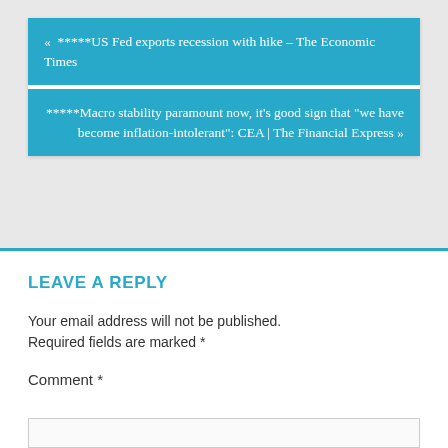« *****US Fed exports recession with hike – The Economic Times
*****Macro stability paramount now, it's good sign that "we have become inflation-intolerant": CEA | The Financial Express »
LEAVE A REPLY
Your email address will not be published. Required fields are marked *
Comment *